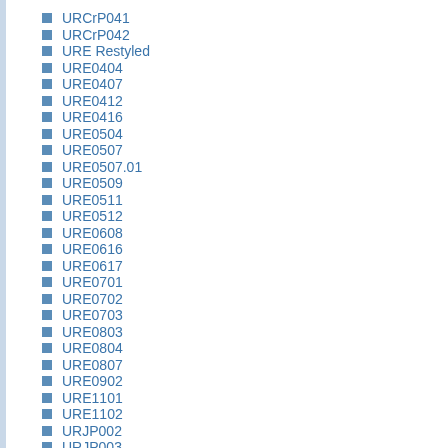URCrP041
URCrP042
URE Restyled
URE0404
URE0407
URE0412
URE0416
URE0504
URE0507
URE0507.01
URE0509
URE0511
URE0512
URE0608
URE0616
URE0617
URE0701
URE0702
URE0703
URE0803
URE0804
URE0807
URE0902
URE1101
URE1102
URJP002
URJP003